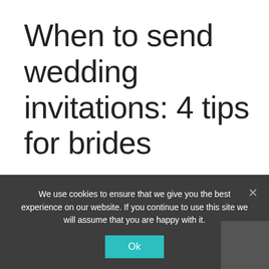When to send wedding invitations: 4 tips for brides
There are a few key things to look out for before you send invitations to your wedding. Have you set a date, booked a venue, and left plenty of time for everyone
We use cookies to ensure that we give you the best experience on our website. If you continue to use this site we will assume that you are happy with it.